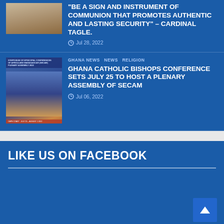“BE A SIGN AND INSTRUMENT OF COMMUNION THAT PROMOTES AUTHENTIC AND LASTING SECURITY” – CARDINAL TAGLE.
Jul 28, 2022
GHANA NEWS  NEWS  RELIGION
GHANA CATHOLIC BISHOPS CONFERENCE SETS JULY 25 TO HOST A PLENARY ASSEMBLY OF SECAM
Jul 06, 2022
LIKE US ON FACEBOOK